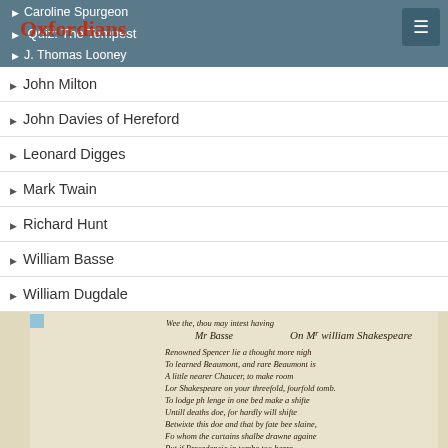Caroline Spurgeon
Quiz: The Tempest
J. Thomas Looney
John Milton
John Davies of Hereford
Leonard Digges
Mark Twain
Richard Hunt
William Basse
William Dugdale
[Figure (photo): Manuscript page of a handwritten poem titled 'On Mr. William Shakespeare' by Mr. Basse, beginning with 'Renowned Spencer lie a thought more nigh / To learned Beaumont, and rare Beaumont is / A little nearer Chaucer, to make room / For Shakespeare on your threefold, fourfold tomb...']